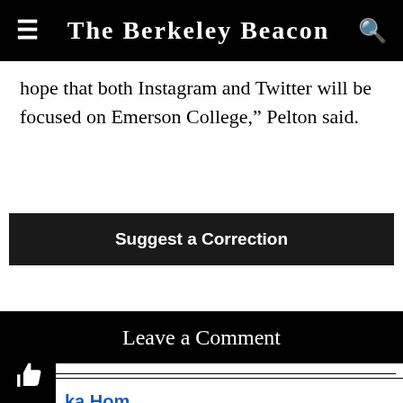The Berkeley Beacon
hope that both Instagram and Twitter will be focused on Emerson College," Pelton said.
Suggest a Correction
Leave a Comment
ka Hom